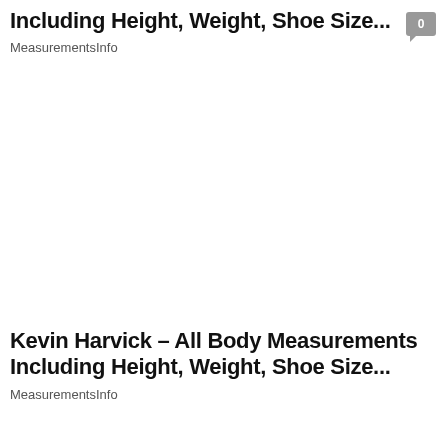Including Height, Weight, Shoe Size...
MeasurementsInfo
Kevin Harvick – All Body Measurements Including Height, Weight, Shoe Size...
MeasurementsInfo